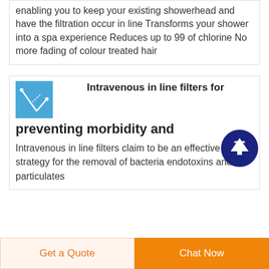enabling you to keep your existing showerhead and have the filtration occur in line Transforms your shower into a spa experience Reduces up to 99 of chlorine No more fading of colour treated hair
Intravenous in line filters for preventing morbidity and
Intravenous in line filters claim to be an effective strategy for the removal of bacteria endotoxins and particulates
Get a Quote
Chat Now